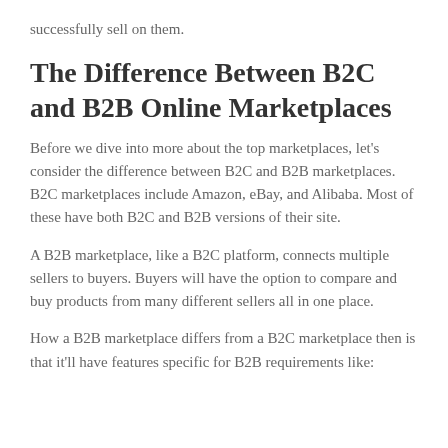successfully sell on them.
The Difference Between B2C and B2B Online Marketplaces
Before we dive into more about the top marketplaces, let's consider the difference between B2C and B2B marketplaces. B2C marketplaces include Amazon, eBay, and Alibaba. Most of these have both B2C and B2B versions of their site.
A B2B marketplace, like a B2C platform, connects multiple sellers to buyers. Buyers will have the option to compare and buy products from many different sellers all in one place.
How a B2B marketplace differs from a B2C marketplace then is that it'll have features specific for B2B requirements like: